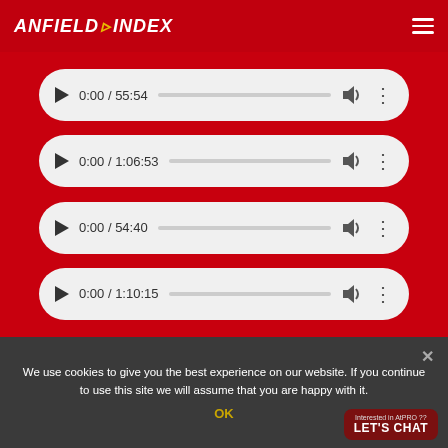ANFIELD INDEX
[Figure (screenshot): Audio player 1 showing 0:00 / 55:54 with progress bar, volume and menu icons]
[Figure (screenshot): Audio player 2 showing 0:00 / 1:06:53 with progress bar, volume and menu icons]
[Figure (screenshot): Audio player 3 showing 0:00 / 54:40 with progress bar, volume and menu icons]
[Figure (screenshot): Audio player 4 showing 0:00 / 1:10:15 with progress bar, volume and menu icons]
We use cookies to give you the best experience on our website. If you continue to use this site we will assume that you are happy with it.
OK